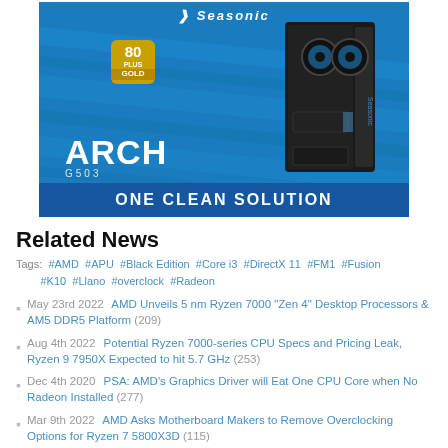[Figure (photo): Seasonic ARCH G503 PC case advertisement with 80 Plus Gold badge, showing a black PC tower case on a blue background with stripes. Text reads 'ONE CLEAN SOLUTION' at the bottom.]
Related News
Tags: #AMD #APU #Black Edition #Core i3 #DirectX 11 #FM1 #Fusion #K10 #Llano #overclock #Radeon
May 23rd 2022  AMD Unveils 5 nm Ryzen 7000 "Zen 4" Desktop Processors & AM5 DDR5 Platform (209)
Aug 4th 2022  Potential Ryzen 7000-series CPU Specs and Pricing Leak, Ryzen 9 7950X Expected to hit 5.7 GHz (253)
Dec 4th 2020  PSA: AMD's Graphics Driver will Eat One CPU Core when No Radeon Installed (277)
Mar 9th 2022  AMD Asks Motherboard Makers to Remove Overclocking Options for Ryzen 7 5800X3D (115)